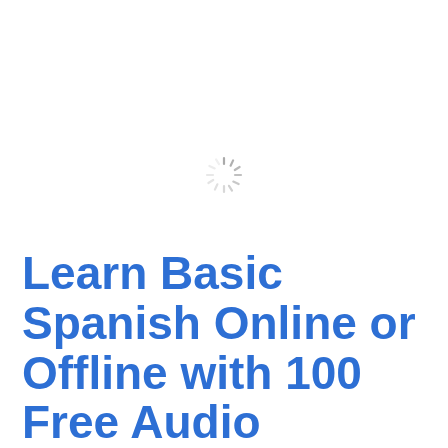[Figure (other): Loading spinner icon centered on white background]
[Figure (other): Back-to-top button: grey circle with upward chevron arrow, positioned bottom right]
Learn Basic Spanish Online or Offline with 100 Free Audio